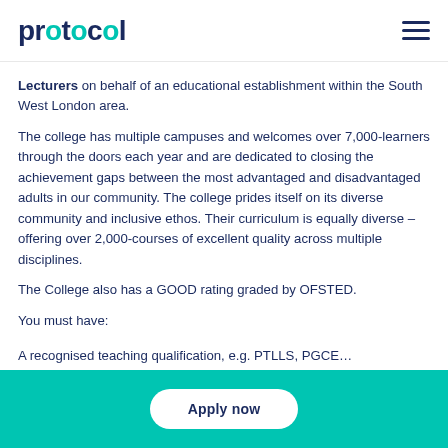protocol
Lecturers on behalf of an educational establishment within the South West London area.
The college has multiple campuses and welcomes over 7,000-learners through the doors each year and are dedicated to closing the achievement gaps between the most advantaged and disadvantaged adults in our community.  The college prides itself on its diverse community and inclusive ethos. Their curriculum is equally diverse – offering over 2,000-courses of excellent quality across multiple disciplines.
The College also has a GOOD rating graded by OFSTED.
You must have:
A recognised teaching qualification, e.g. PTLLS, PGCE